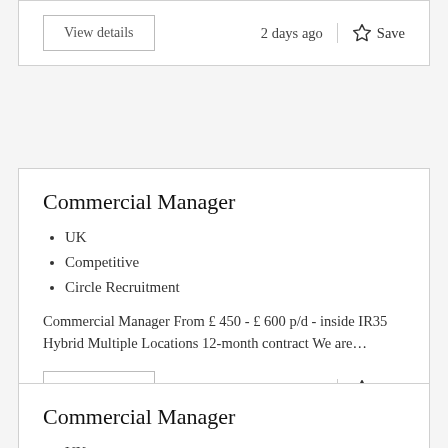View details | 2 days ago | Save
Commercial Manager
UK
Competitive
Circle Recruitment
Commercial Manager From £ 450 - £ 600 p/d - inside IR35 Hybrid Multiple Locations 12-month contract We are…
View details | 2 days ago | Save
Commercial Manager
UK